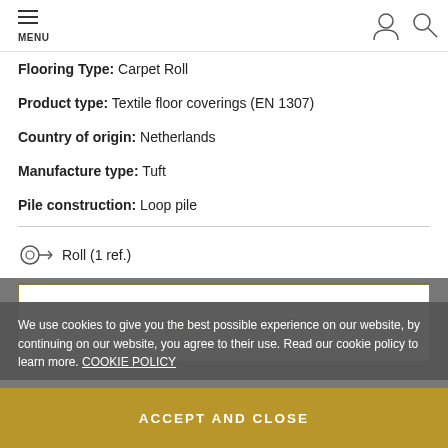MENU
Flooring Type: Carpet Roll
Product type: Textile floor coverings (EN 1307)
Country of origin: Netherlands
Manufacture type: Tuft
Pile construction: Loop pile
Roll (1 ref.)
REQUEST A QUOTE
We use cookies to give you the best possible experience on our website, by continuing on our website, you agree to their use. Read our cookie policy to learn more. COOKIE POLICY
Add to comparator
ACCEPT AND CLOSE